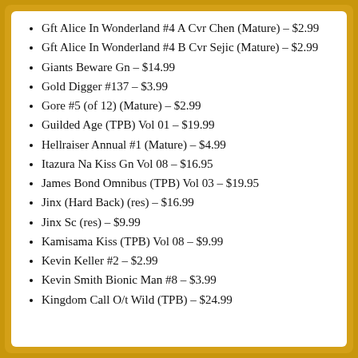Gft Alice In Wonderland #4 A Cvr Chen (Mature) – $2.99
Gft Alice In Wonderland #4 B Cvr Sejic (Mature) – $2.99
Giants Beware Gn – $14.99
Gold Digger #137 – $3.99
Gore #5 (of 12) (Mature) – $2.99
Guilded Age (TPB) Vol 01 – $19.99
Hellraiser Annual #1 (Mature) – $4.99
Itazura Na Kiss Gn Vol 08 – $16.95
James Bond Omnibus (TPB) Vol 03 – $19.95
Jinx (Hard Back) (res) – $16.99
Jinx Sc (res) – $9.99
Kamisama Kiss (TPB) Vol 08 – $9.99
Kevin Keller #2 – $2.99
Kevin Smith Bionic Man #8 – $3.99
Kingdom Call O/t Wild (TPB) – $24.99